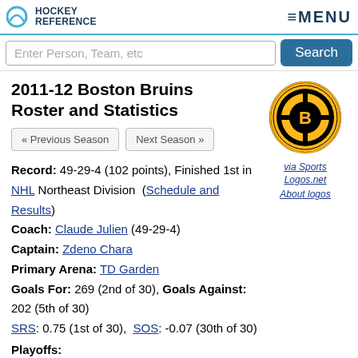Hockey Reference — MENU
Enter Person, Team, etc  Search
2011-12 Boston Bruins Roster and Statistics
[Figure (logo): Boston Bruins logo — circular gold and black logo with letter B]
via Sports Logos.net
About logos
« Previous Season   Next Season »
Record: 49-29-4 (102 points), Finished 1st in NHL Northeast Division (Schedule and Results)
Coach: Claude Julien (49-29-4)
Captain: Zdeno Chara
Primary Arena: TD Garden
Goals For: 269 (2nd of 30), Goals Against: 202 (5th of 30)
SRS: 0.75 (1st of 30),  SOS: -0.07 (30th of 30)
Playoffs: Lost Conference Quarter-Finals (4-3) to Washington Capitals
Preseason Odds: Stanley Cup +1000; O/U 102.5
« Bruins History
More 2011-12 Bruins Pages